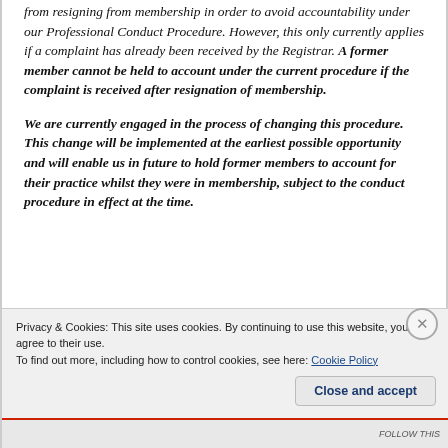from resigning from membership in order to avoid accountability under our Professional Conduct Procedure. However, this only currently applies if a complaint has already been received by the Registrar. A former member cannot be held to account under the current procedure if the complaint is received after resignation of membership.

We are currently engaged in the process of changing this procedure. This change will be implemented at the earliest possible opportunity and will enable us in future to hold former members to account for their practice whilst they were in membership, subject to the conduct procedure in effect at the time.
Privacy & Cookies: This site uses cookies. By continuing to use this website, you agree to their use.
To find out more, including how to control cookies, see here: Cookie Policy
Close and accept